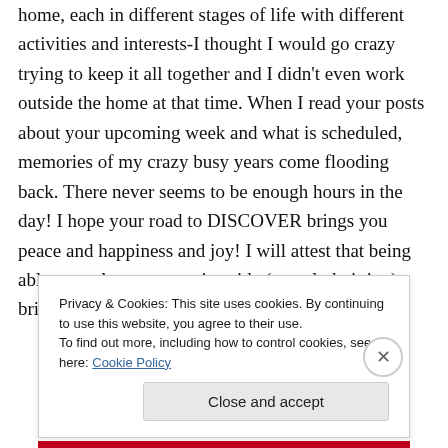home, each in different stages of life with different activities and interests-I thought I would go crazy trying to keep it all together and I didn't even work outside the home at that time. When I read your posts about your upcoming week and what is scheduled, memories of my crazy busy years come flooding back. There never seems to be enough hours in the day! I hope your road to DISCOVER brings you peace and happiness and joy! I will attest that being able to explore my creative side (namely knitting) brings me much
Privacy & Cookies: This site uses cookies. By continuing to use this website, you agree to their use.
To find out more, including how to control cookies, see here: Cookie Policy